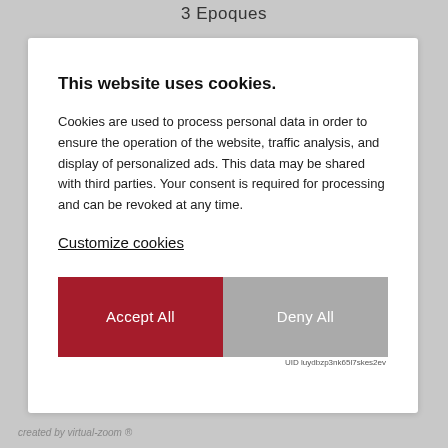3 Epoques
This website uses cookies.
Cookies are used to process personal data in order to ensure the operation of the website, traffic analysis, and display of personalized ads. This data may be shared with third parties. Your consent is required for processing and can be revoked at any time.
Customize cookies
Accept All
Deny All
UID luydbzp3nk65l7skes2ev
created by virtual-zoom ®